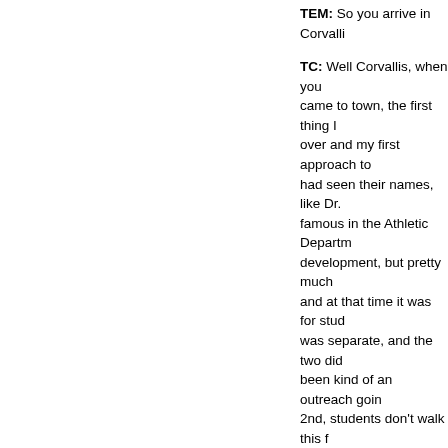TEM: So you arrive in Corvalli...
TC: Well Corvallis, when you came to town, the first thing I over and my first approach to had seen their names, like Dr. famous in the Athletic Departm development, but pretty much and at that time it was for stud was separate, and the two did been kind of an outreach goin 2nd, students don't walk this f If they come this way, maybe
In those days, what was really have some bars now but it wa driving the police maybe a littl
I spent my first two years pret Langton Hall and the Women' was the old stalwart of the Me real strong and the P.E. depar course across the river, which And then there was, of course different idea. And they kind o
Also, I felt an awe and privileg reputation for Oregon State U the activity areas, what was a